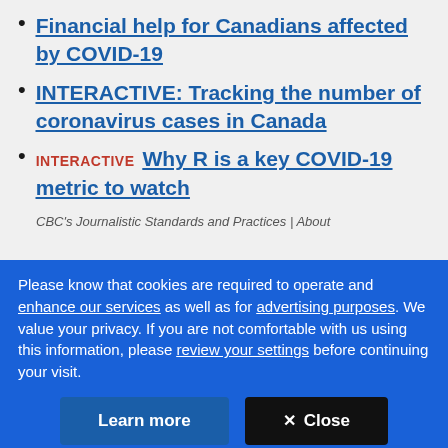Financial help for Canadians affected by COVID-19
INTERACTIVE: Tracking the number of coronavirus cases in Canada
INTERACTIVE  Why R is a key COVID-19 metric to watch
CBC's Journalistic Standards and Practices | About
Please know that cookies are required to operate and enhance our services as well as for advertising purposes. We value your privacy. If you are not comfortable with us using this information, please review your settings before continuing your visit.